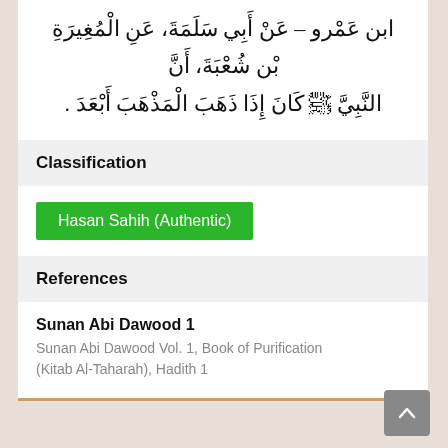ابن عمرو – عَنْ أَبِي سَلَمَةَ، عَنِ الْمُغِيرَةِ بْن شُعْبَةَ، أَنَّ النَّبِيَّ ﷺ كَانَ إِذَا ذَهَبَ الْمَذْهَبَ أَبْعَدَ .
Classification
Hasan Sahih (Authentic)
References
Sunan Abi Dawood 1
Sunan Abi Dawood Vol. 1, Book of Purification (Kitab Al-Taharah), Hadith 1